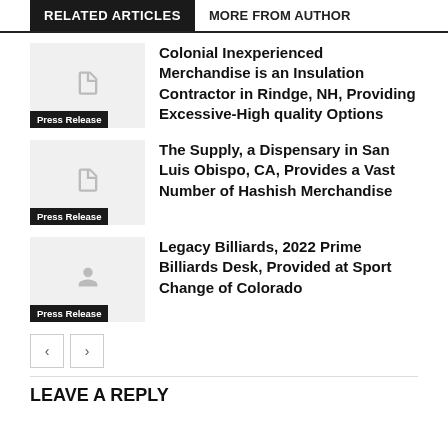RELATED ARTICLES
MORE FROM AUTHOR
Colonial Inexperienced Merchandise is an Insulation Contractor in Rindge, NH, Providing Excessive-High quality Options
Press Release
The Supply, a Dispensary in San Luis Obispo, CA, Provides a Vast Number of Hashish Merchandise
Press Release
Legacy Billiards, 2022 Prime Billiards Desk, Provided at Sport Change of Colorado
Press Release
LEAVE A REPLY